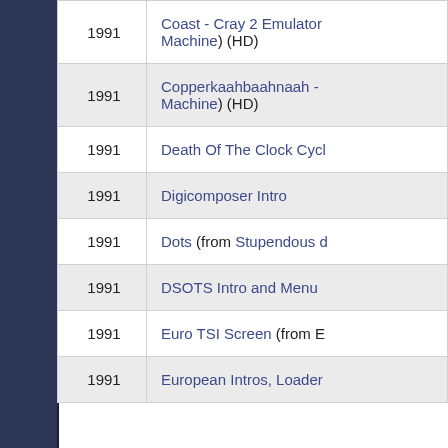| Year | Entry |
| --- | --- |
| 1991 | Coast - Cray 2 Emulator ... Machine) (HD) |
| 1991 | Copperkaahbaahnaah - ... Machine) (HD) |
| 1991 | Death Of The Clock Cycl... |
| 1991 | Digicomposer Intro |
| 1991 | Dots (from Stupendous d... |
| 1991 | DSOTS Intro and Menu ... |
| 1991 | Euro TSI Screen (from E... |
| 1991 | European Intros, Loader... |